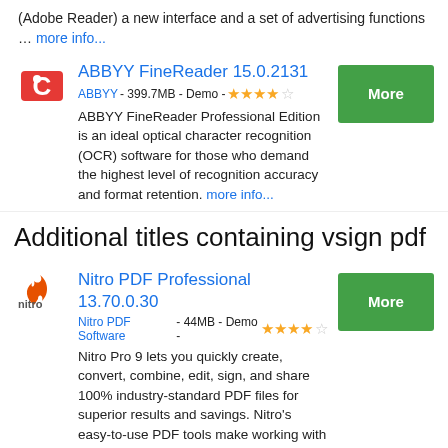(Adobe Reader) a new interface and a set of advertising functions … more info...
ABBYY FineReader 15.0.2131
ABBYY - 399.7MB - Demo - ★★★★☆
ABBYY FineReader Professional Edition is an ideal optical character recognition (OCR) software for those who demand the highest level of recognition accuracy and format retention. more info...
Additional titles containing vsign pdf
Nitro PDF Professional 13.70.0.30
Nitro PDF Software - 44MB - Demo - ★★★★☆
Nitro Pro 9 lets you quickly create, convert, combine, edit, sign, and share 100% industry-standard PDF files for superior results and savings. Nitro's easy-to-use PDF tools make working with digital documents pain free. more info...
EPSON Scan PDF EXtensions 1.3.2
SEIKO EPSON Corp. - Shareware -
more info...